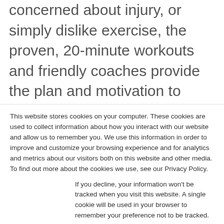concerned about injury, or simply dislike exercise, the proven, 20-minute workouts and friendly coaches provide the plan and motivation to transform even the most unlikely of exercisers. The Exercise Coach continues it's strong and consistent growth with Franchise FastLane! Over 200 US territories awarded and over 250 total global units! But what is the best next? A lot of new stores are opening every...
This website stores cookies on your computer. These cookies are used to collect information about how you interact with our website and allow us to remember you. We use this information in order to improve and customize your browsing experience and for analytics and metrics about our visitors both on this website and other media. To find out more about the cookies we use, see our Privacy Policy.
If you decline, your information won't be tracked when you visit this website. A single cookie will be used in your browser to remember your preference not to be tracked.
Accept
Decline